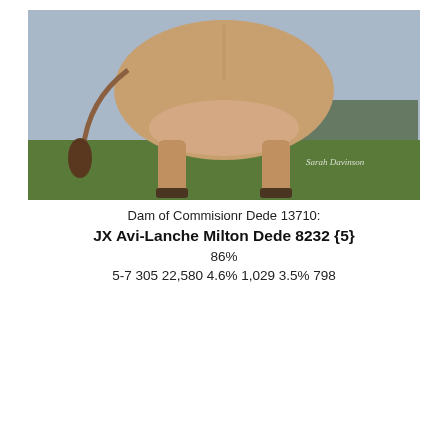[Figure (photo): A Jersey cow photographed from behind in a field, showing the udder and hindquarters. Green grass and trees visible in background. Watermark reads 'Sarah Davinson'.]
Dam of Commisionr Dede 13710:
JX Avi-Lanche Milton Dede 8232 {5}
86%
5-7 305 22,580 4.6% 1,029 3.5% 798